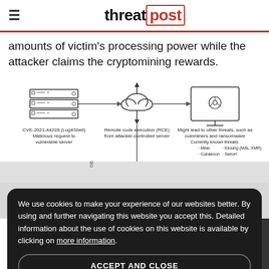threatpost
amounts of victim's processing power while the attacker claims the cryptomining rewards.
[Figure (infographic): Diagram showing CVE-2021-44228 (Log4Shell) attack chain: Malicious request to vulnerable server → Remote code execution (RCE) from attacker-controlled server (via cloud) → Might lead to other threats, such as coinminers and ransomware. Currently known threats: Mirai, Kinsing (MAL.XMR), Cobaecon, Swrort.]
We use cookies to make your experience of our websites better. By using and further navigating this website you accept this. Detailed information about the use of cookies on this website is available by clicking on more information.
ACCEPT AND CLOSE
Trend Micro published this att...